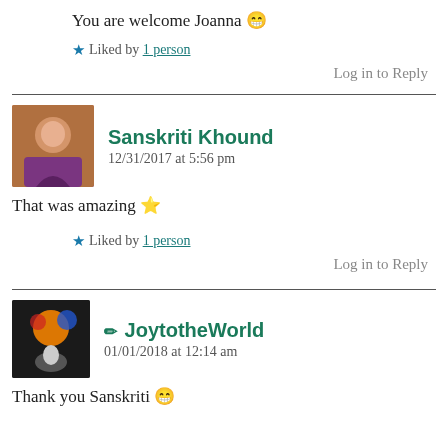You are welcome Joanna 😁
★ Liked by 1 person
Log in to Reply
Sanskriti Khound
12/31/2017 at 5:56 pm
That was amazing ⭐
★ Liked by 1 person
Log in to Reply
✏ JoytotheWorld
01/01/2018 at 12:14 am
Thank you Sanskriti 😁